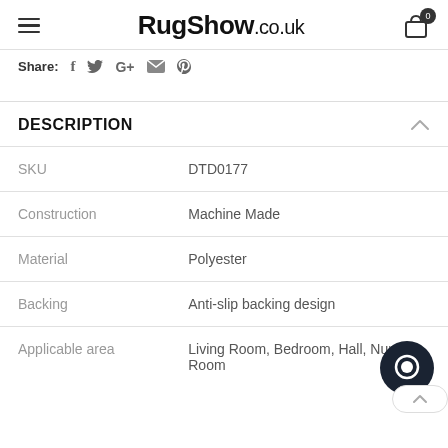RugShow.co.uk
Share: f  Twitter  G+  Email  Pinterest
DESCRIPTION
| Field | Value |
| --- | --- |
| SKU | DTD0177 |
| Construction | Machine Made |
| Material | Polyester |
| Backing | Anti-slip backing design |
| Applicable area | Living Room, Bedroom, Hall, Nursery, Room |